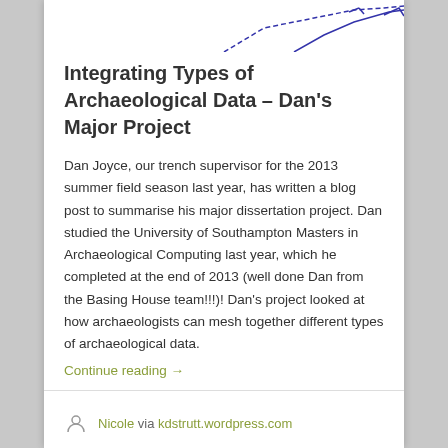[Figure (illustration): Partial view of a blue line diagram or map at the top of the page, partially cropped]
Integrating Types of Archaeological Data – Dan's Major Project
Dan Joyce, our trench supervisor for the 2013 summer field season last year, has written a blog post to summarise his major dissertation project. Dan studied the University of Southampton Masters in Archaeological Computing last year, which he completed at the end of 2013 (well done Dan from the Basing House team!!!)! Dan's project looked at how archaeologists can mesh together different types of archaeological data.
Continue reading →
Nicole via kdstrutt.wordpress.com
March 26, 2014
Leave a comment